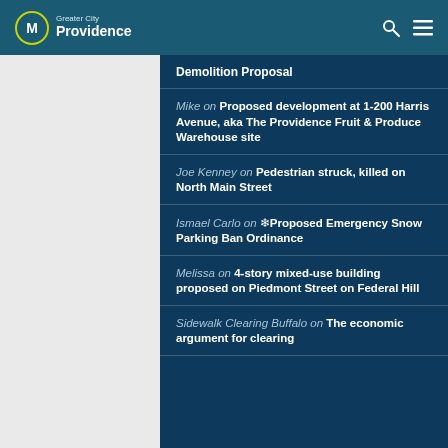Greater City Providence
Demolition Proposal
Mike on Proposed development at 1-200 Harris Avenue, aka The Providence Fruit & Produce Warehouse site
Joe Kenney on Pedestrian struck, killed on North Main Street
Ismael Carlo on ❄ Proposed Emergency Snow Parking Ban Ordinance
Melissa on 4-story mixed-use building proposed on Piedmont Street on Federal Hill
Sidewalk Clearing Buffalo on The economic argument for clearing...